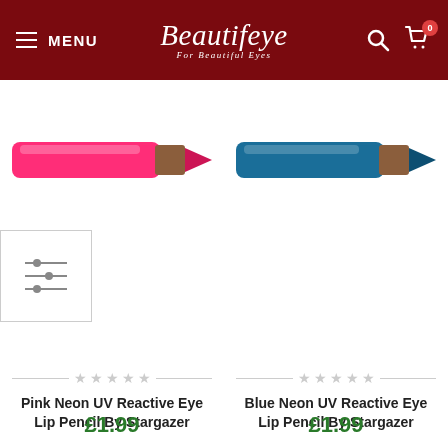MENU | Beautifeye For Beautiful Eyes
[Figure (photo): Pink neon eyeliner/lip pencil by Stargazer, horizontal orientation with brown wooden barrel and hot pink tip]
[Figure (photo): Blue neon eyeliner/lip pencil by Stargazer, horizontal orientation with brown wooden barrel and teal/blue tip]
Pink Neon UV Reactive Eye Lip Pencil By Stargazer
Blue Neon UV Reactive Eye Lip Pencil By Stargazer
£1.99
£1.99